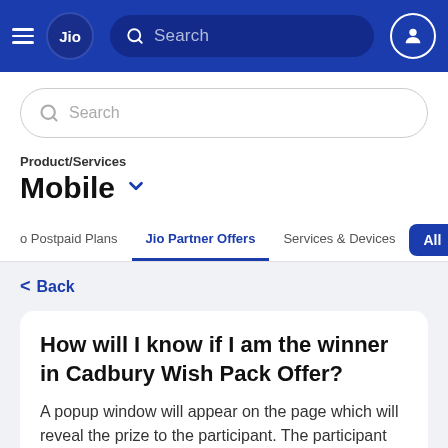Jio — Search navigation bar
Search
Product/Services
Mobile
o Postpaid Plans   Jio Partner Offers   Services & Devices   All
< Back
How will I know if I am the winner in Cadbury Wish Pack Offer?
A popup window will appear on the page which will reveal the prize to the participant. The participant can